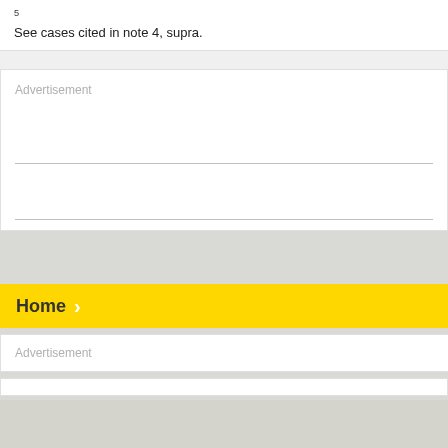5
See cases cited in note 4, supra.
[Figure (other): Advertisement placeholder box with two horizontal divider lines inside]
Home
[Figure (other): Advertisement placeholder bar]
[Figure (other): Empty white bar]
[Figure (other): Grey footer area]